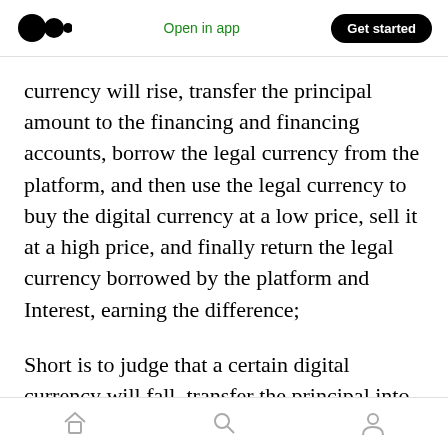Open in app | Get started
currency will rise, transfer the principal amount to the financing and financing accounts, borrow the legal currency from the platform, and then use the legal currency to buy the digital currency at a low price, sell it at a high price, and finally return the legal currency borrowed by the platform and Interest, earning the difference;
Short is to judge that a certain digital currency will fall, transfer the principal into the financing and depreciation account, borrow the digital currency from the platform, and then sell the